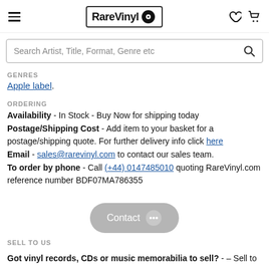RareVinyl
Search Artist, Title, Format, Genre etc
GENRES
Apple label.
ORDERING
Availability - In Stock - Buy Now for shipping today
Postage/Shipping Cost - Add item to your basket for a postage/shipping quote. For further delivery info click here
Email - sales@rarevinyl.com to contact our sales team.
To order by phone - Call (+44) 0147485010 quoting RareVinyl.com reference number BDF07MA786355
[Figure (other): Contact button with speech bubble dots icon]
SELL TO US
Got vinyl records, CDs or music memorabilia to sell? - – Sell to